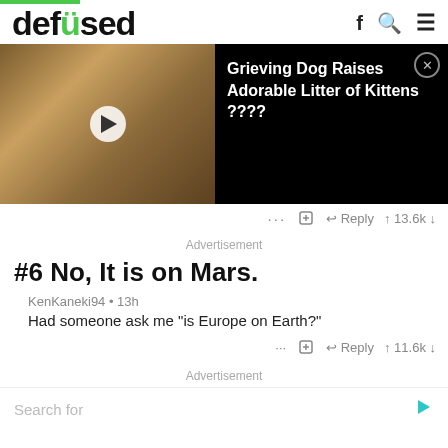defused
[Figure (screenshot): Video thumbnail showing dogs with play button, overlaid with ad popup: 'Grieving Dog Raises Adorable Litter of Kittens ????']
... + Reply ↑ 13.6k ↓
Advertisement
#6 No, It is on Mars.
KenKaneki94 • 13h
Had someone ask me "is Europe on Earth?"
... + Reply ↑ 11.6k ↓
Advertisement
Search for